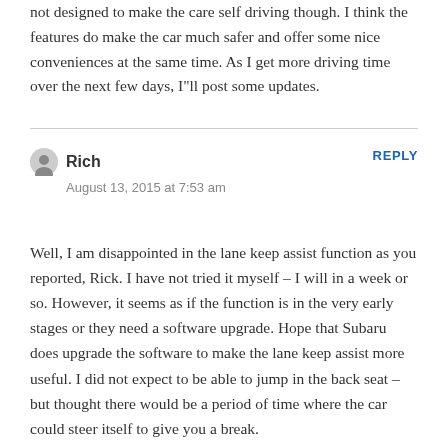not designed to make the care self driving though. I think the features do make the car much safer and offer some nice conveniences at the same time. As I get more driving time over the next few days, I"ll post some updates.
Rich
August 13, 2015 at 7:53 am
REPLY
Well, I am disappointed in the lane keep assist function as you reported, Rick. I have not tried it myself – I will in a week or so. However, it seems as if the function is in the very early stages or they need a software upgrade. Hope that Subaru does upgrade the software to make the lane keep assist more useful. I did not expect to be able to jump in the back seat – but thought there would be a period of time where the car could steer itself to give you a break.